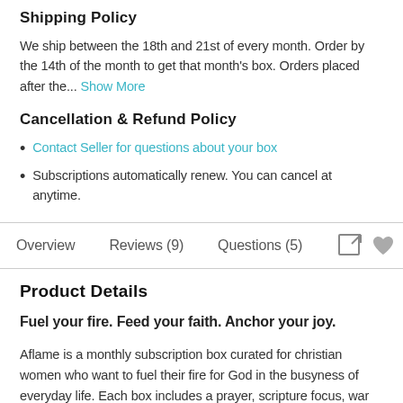Shipping Policy
We ship between the 18th and 21st of every month. Order by the 14th of the month to get that month's box. Orders placed after the... Show More
Cancellation & Refund Policy
Contact Seller for questions about your box
Subscriptions automatically renew. You can cancel at anytime.
Overview   Reviews (9)   Questions (5)
Product Details
Fuel your fire. Feed your faith. Anchor your joy.
Aflame is a monthly subscription box curated for christian women who want to fuel their fire for God in the busyness of everyday life. Each box includes a prayer, scripture focus, war room kit, inspiring reads,